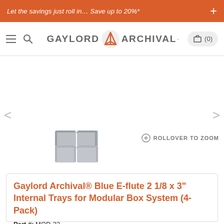Let the savings just roll in… Save up to 20%*
[Figure (logo): Gaylord Archival logo with hamburger menu, search icon, and cart (0) on navigation bar]
[Figure (photo): Gray modular internal trays for box system, thumbnail product image with ROLLOVER TO ZOOM label]
Gaylord Archival® Blue E-flute 2 1/8 x 3" Internal Trays for Modular Box System (4-Pack)
Part #: MOD-32